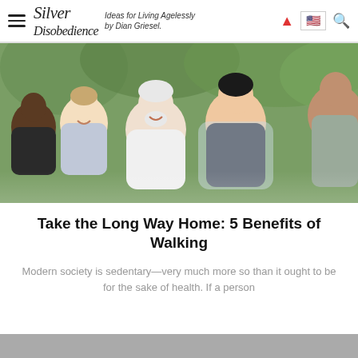Silver Disobedience — Ideas for Living Agelessly by Dian Griesel.
[Figure (photo): Group of diverse middle-aged and older adults smiling and standing together outdoors with arms around each other, green foliage background.]
Take the Long Way Home: 5 Benefits of Walking
Modern society is sedentary—very much more so than it ought to be for the sake of health. If a person